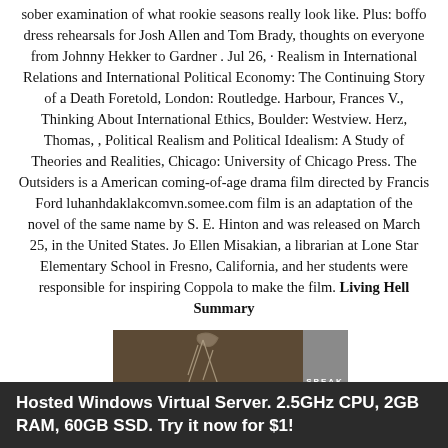sober examination of what rookie seasons really look like. Plus: boffo dress rehearsals for Josh Allen and Tom Brady, thoughts on everyone from Johnny Hekker to Gardner . Jul 26,  · Realism in International Relations and International Political Economy: The Continuing Story of a Death Foretold, London: Routledge. Harbour, Frances V., Thinking About International Ethics, Boulder: Westview. Herz, Thomas, , Political Realism and Political Idealism: A Study of Theories and Realities, Chicago: University of Chicago Press. The Outsiders is a American coming-of-age drama film directed by Francis Ford luhanhdaklakcomvn.somee.com film is an adaptation of the novel of the same name by S. E. Hinton and was released on March 25, in the United States. Jo Ellen Misakian, a librarian at Lone Star Elementary School in Fresno, California, and her students were responsible for inspiring Coppola to make the film. Living Hell Summary
[Figure (photo): Book cover image with dark brown/sepia tones showing a figure and the word SPEAK on a grey vertical band on the right side.]
Hosted Windows Virtual Server. 2.5GHz CPU, 2GB RAM, 60GB SSD. Try it now for $1!